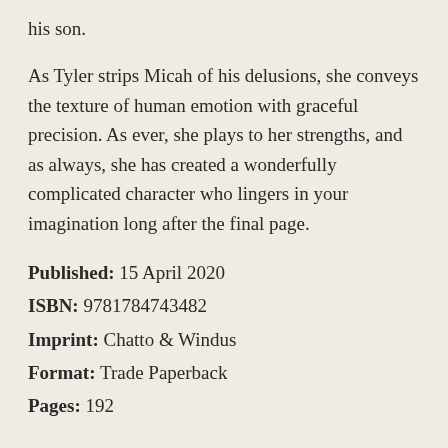his son.
As Tyler strips Micah of his delusions, she conveys the texture of human emotion with graceful precision. As ever, she plays to her strengths, and as always, she has created a wonderfully complicated character who lingers in your imagination long after the final page.
Published: 15 April 2020
ISBN: 9781784743482
Imprint: Chatto & Windus
Format: Trade Paperback
Pages: 192